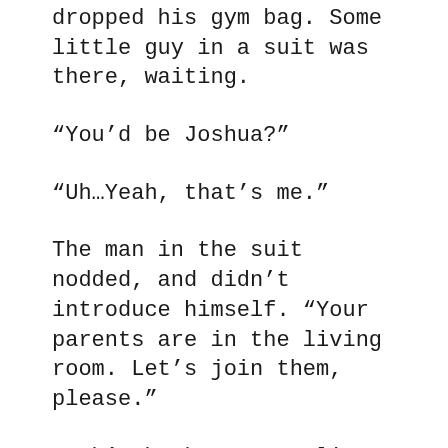dropped his gym bag. Some little guy in a suit was there, waiting.
“You’d be Joshua?”
“Uh…Yeah, that’s me.”
The man in the suit nodded, and didn’t introduce himself. “Your parents are in the living room. Let’s join them, please.”
Josh’s back was crawling and his head churning over just what in the fuck might be going on, but the guy seemed calm and polite and…
Well. He prowled in, took a look around the room. Mom was sitting on the couch